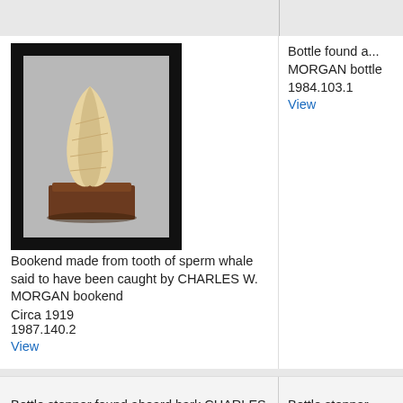[Figure (photo): A bookend made from a sperm whale tooth mounted on a dark wooden base, photographed against a gray background with black border/mat.]
Bookend made from tooth of sperm whale said to have been caught by CHARLES W. MORGAN bookend
Circa 1919
1987.140.2
View
Bottle found a... MORGAN bottle 1984.103.1
View
Bottle stopper found aboard bark CHARLES W. MORGAN
bottle stopper
1984.103.8
View
Bottle stopper... MORGAN
bottle stopper
1984.103.250
View